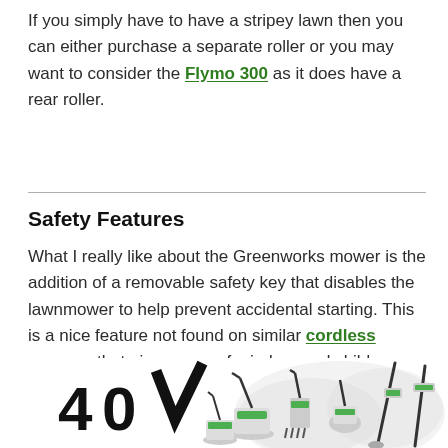If you simply have to have a stripey lawn then you can either purchase a separate roller or you may want to consider the Flymo 300 as it does have a rear roller.
Safety Features
What I really like about the Greenworks mower is the addition of a removable safety key that disables the lawnmower to help prevent accidental starting. This is a nice feature not found on similar cordless mowers that give peace of mind around children.
[Figure (photo): Greenworks 40V product lineup showing multiple cordless garden tools including lawnmowers, trimmers, and blowers arranged in a circular composition with 40V branding logo]